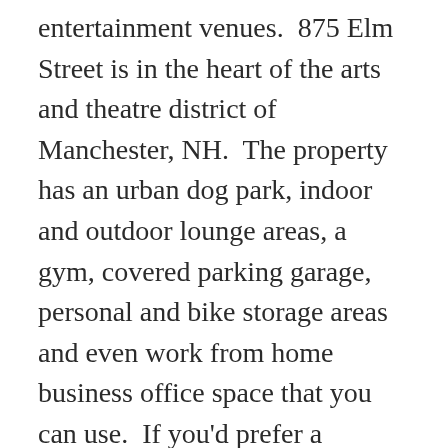entertainment venues.  875 Elm Street is in the heart of the arts and theatre district of Manchester, NH.  The property has an urban dog park, indoor and outdoor lounge areas, a gym, covered parking garage, personal and bike storage areas and even work from home business office space that you can use.  If you'd prefer a location that is a bit out of downtown then Redstone Apartments or Sunset Ridge Apartments will be your choice.  At Redstone your large dog is welcome where at Sunset Ridge dogs up to 25